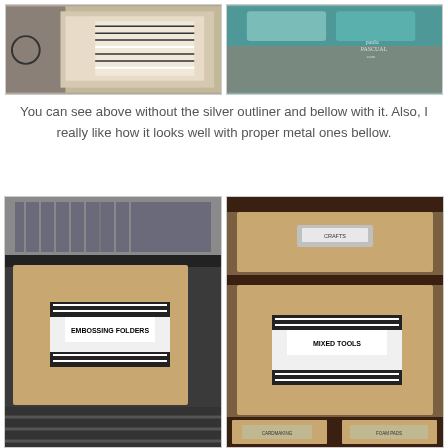[Figure (photo): Two photos side by side at top: left shows a cardboard box with a black and white striped label, right shows craft supplies including a teal/blue lid with paula pascual .com watermark]
You can see above without the silver outliner and bellow with it. Also, I really like how it looks well with proper metal ones bellow.
[Figure (photo): Two photos side by side at bottom: left shows a dark filing cabinet drawer with a cardboard box labeled EMBOSSING FOLDERS with a decorative label, right shows a brown cardboard drawer unit with metal label holders, one drawer labeled MIXED TOOLS and others visible below]